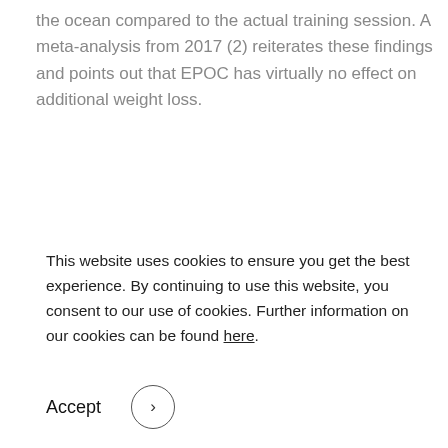the ocean compared to the actual training session. A meta-analysis from 2017 (2) reiterates these findings and points out that EPOC has virtually no effect on additional weight loss.
This website uses cookies to ensure you get the best experience. By continuing to use this website, you consent to our use of cookies. Further information on our cookies can be found here.
Accept >